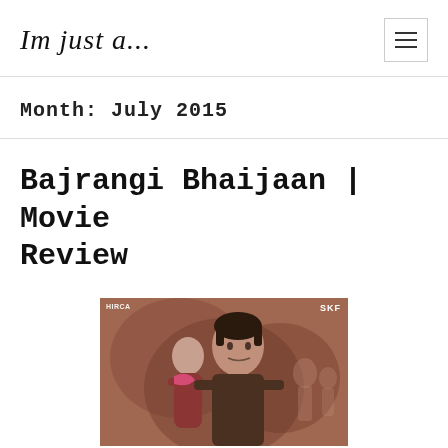Im just a...
Month: July 2015
Bajrangi Bhaijaan | Movie Review
[Figure (photo): Movie poster for Bajrangi Bhaijaan showing a man and a child, with SKF logo in top right and distributor logo in top left, brownish/reddish background with silhouettes]